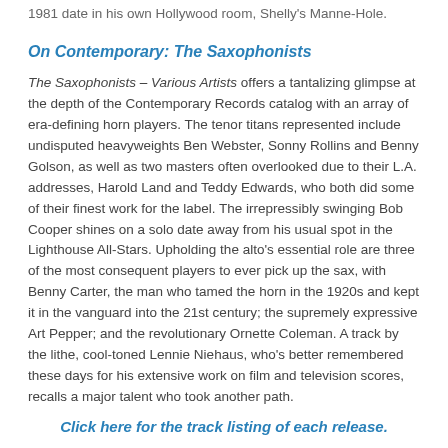1981 date in his own Hollywood room, Shelly's Manne-Hole.
On Contemporary: The Saxophonists
The Saxophonists – Various Artists offers a tantalizing glimpse at the depth of the Contemporary Records catalog with an array of era-defining horn players. The tenor titans represented include undisputed heavyweights Ben Webster, Sonny Rollins and Benny Golson, as well as two masters often overlooked due to their L.A. addresses, Harold Land and Teddy Edwards, who both did some of their finest work for the label. The irrepressibly swinging Bob Cooper shines on a solo date away from his usual spot in the Lighthouse All-Stars. Upholding the alto's essential role are three of the most consequent players to ever pick up the sax, with Benny Carter, the man who tamed the horn in the 1920s and kept it in the vanguard into the 21st century; the supremely expressive Art Pepper; and the revolutionary Ornette Coleman. A track by the lithe, cool-toned Lennie Niehaus, who's better remembered these days for his extensive work on film and television scores, recalls a major talent who took another path.
Click here for the track listing of each release.